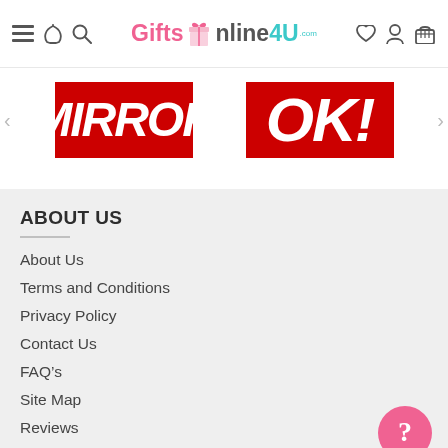GiftsOnline4U.com – navigation header with hamburger menu, phone, search, wishlist, account, and cart icons
[Figure (logo): GiftsOnline4U.com logo with gift box icon in center]
[Figure (screenshot): Banner carousel showing two brand logos: Mirror and OK! magazine logos on red backgrounds, with left and right navigation arrows]
ABOUT US
About Us
Terms and Conditions
Privacy Policy
Contact Us
FAQ's
Site Map
Reviews